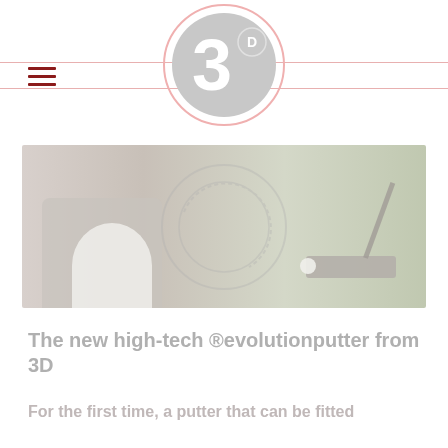3D logo with hamburger menu
[Figure (photo): Golf putter in use on a green, showing golfer's feet and a putter head near a golf ball, with a semi-transparent circular watermark overlay]
The new high-tech ®evolutionputter from 3D
For the first time, a putter that can be fitted